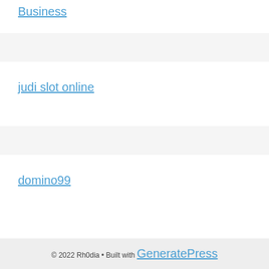Business
judi slot online
domino99
gs쿠폰
© 2022 Rh0dia • Built with GeneratePress